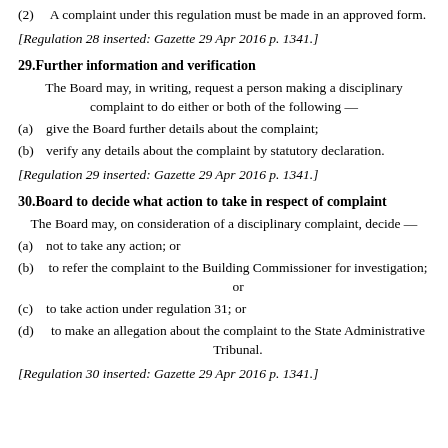(2)A complaint under this regulation must be made in an approved form.
[Regulation 28 inserted: Gazette 29 Apr 2016 p. 1341.]
29.Further information and verification
The Board may, in writing, request a person making a disciplinary complaint to do either or both of the following —
(a)give the Board further details about the complaint;
(b)verify any details about the complaint by statutory declaration.
[Regulation 29 inserted: Gazette 29 Apr 2016 p. 1341.]
30.Board to decide what action to take in respect of complaint
The Board may, on consideration of a disciplinary complaint, decide —
(a)not to take any action; or
(b)to refer the complaint to the Building Commissioner for investigation; or
(c)to take action under regulation 31; or
(d)to make an allegation about the complaint to the State Administrative Tribunal.
[Regulation 30 inserted: Gazette 29 Apr 2016 p. 1341.]